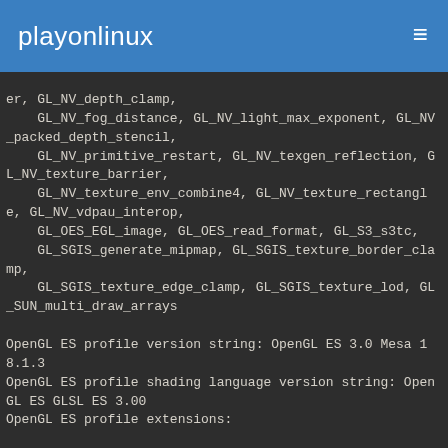playonlinux
er, GL_NV_depth_clamp,
    GL_NV_fog_distance, GL_NV_light_max_exponent, GL_NV_packed_depth_stencil,
    GL_NV_primitive_restart, GL_NV_texgen_reflection, GL_NV_texture_barrier,
    GL_NV_texture_env_combine4, GL_NV_texture_rectangle, GL_NV_vdpau_interop,
    GL_OES_EGL_image, GL_OES_read_format, GL_S3_s3tc,
    GL_SGIS_generate_mipmap, GL_SGIS_texture_border_clamp,
    GL_SGIS_texture_edge_clamp, GL_SGIS_texture_lod, GL_SUN_multi_draw_arrays

OpenGL ES profile version string: OpenGL ES 3.0 Mesa 18.1.3
OpenGL ES profile shading language version string: OpenGL ES GLSL ES 3.00
OpenGL ES profile extensions: